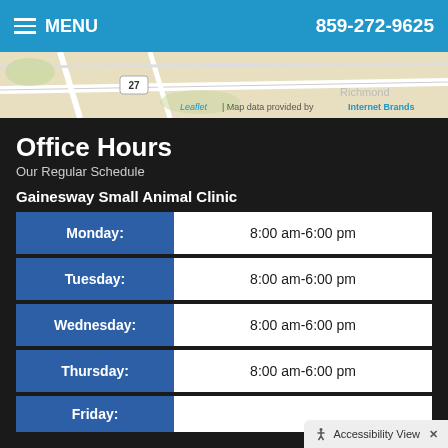MENU | 859-272-9625
[Figure (map): Street map strip showing road with marker 27, with attribution: Leaflet | Map data provided by Internet Brands]
Office Hours
Our Regular Schedule
Gainesway Small Animal Clinic
| Day | Hours |
| --- | --- |
| Monday: | 8:00 am-6:00 pm |
| Tuesday: | 8:00 am-6:00 pm |
| Wednesday: | 8:00 am-6:00 pm |
| Thursday: | 8:00 am-6:00 pm |
| Friday: |  |